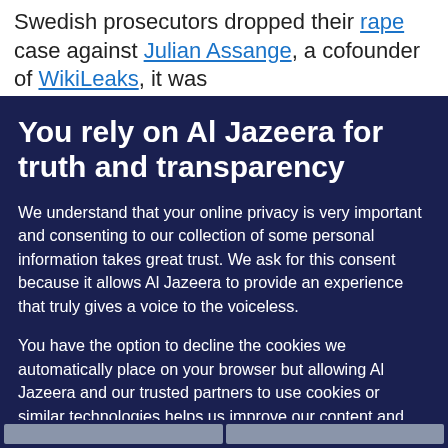Swedish prosecutors dropped their rape case against Julian Assange, a cofounder of WikiLeaks, it was
You rely on Al Jazeera for truth and transparency
We understand that your online privacy is very important and consenting to our collection of some personal information takes great trust. We ask for this consent because it allows Al Jazeera to provide an experience that truly gives a voice to the voiceless.
You have the option to decline the cookies we automatically place on your browser but allowing Al Jazeera and our trusted partners to use cookies or similar technologies helps us improve our content and offerings to you. You can change your privacy preferences at any time by selecting ‘Cookie preferences’ at the bottom of your screen. To learn more, please view our Cookie Policy.